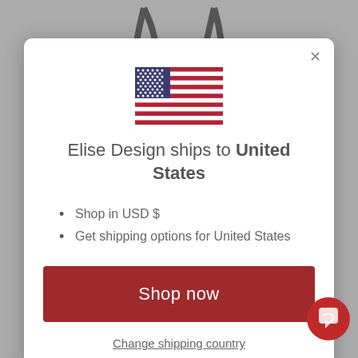[Figure (illustration): Background decorative logo/icon partially visible at top and bottom behind the modal dialog]
[Figure (illustration): US flag SVG illustration centered at top of modal]
Elise Design ships to United States
Shop in USD $
Get shipping options for United States
Shop now
Change shipping country